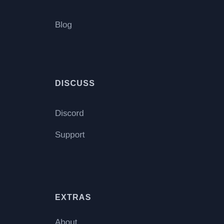Blog
DISCUSS
Discord
Support
EXTRAS
About
Contact